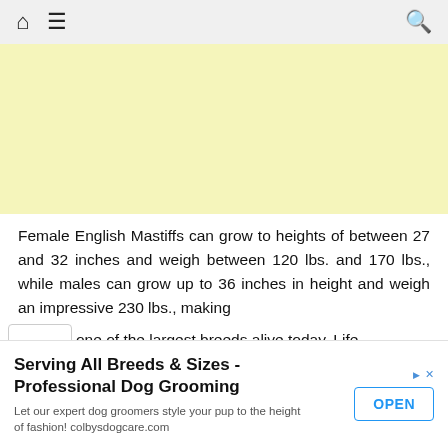Home | Menu | Search
[Figure (other): Yellow advertisement banner placeholder]
Female English Mastiffs can grow to heights of between 27 and 32 inches and weigh between 120 lbs. and 170 lbs., while males can grow up to 36 inches in height and weigh an impressive 230 lbs., making one of the largest breeds alive today. Life
[Figure (other): Bottom advertisement: Serving All Breeds & Sizes - Professional Dog Grooming. Let our expert dog groomers style your pup to the height of fashion! colbysdogcare.com. OPEN button.]